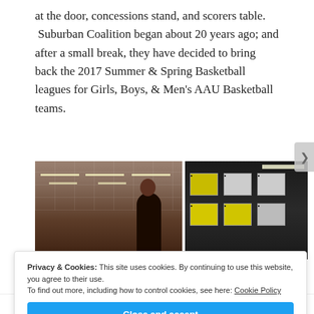at the door, concessions stand, and scorers table. Suburban Coalition began about 20 years ago; and after a small break, they have decided to bring back the 2017 Summer & Spring Basketball leagues for Girls, Boys, & Men's AAU Basketball teams.
[Figure (photo): Two photos side by side: left shows interior of a gymnasium with a person standing under ceiling tiles and lights; right shows shelving or storage area with yellow signs/boards.]
Privacy & Cookies: This site uses cookies. By continuing to use this website, you agree to their use.
To find out more, including how to control cookies, see here: Cookie Policy
Close and accept
same page is easy. And free.